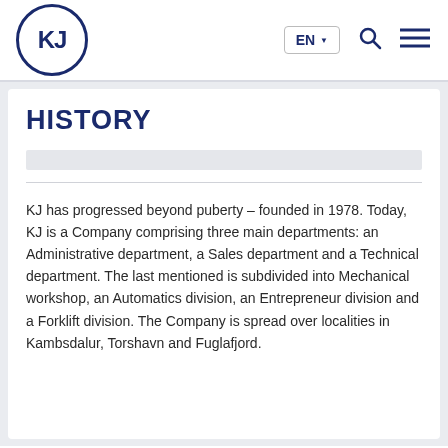[Figure (logo): KJ logo: circle with KJ letters in dark navy blue]
EN ▼ [search icon] [menu icon]
HISTORY
KJ has progressed beyond puberty – founded in 1978. Today, KJ is a Company comprising three main departments: an Administrative department, a Sales department and a Technical department. The last mentioned is subdivided into Mechanical workshop, an Automatics division, an Entrepreneur division and a Forklift division. The Company is spread over localities in Kambsdalur, Torshavn and Fuglafjord.